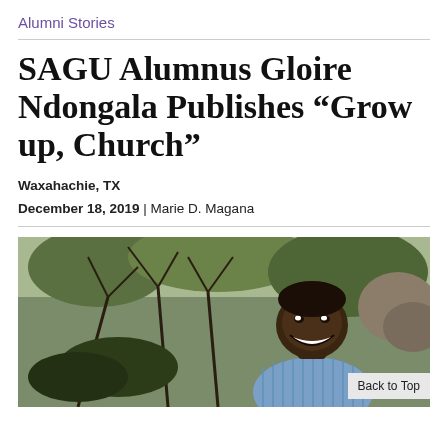Alumni Stories
SAGU Alumnus Gloire Ndongala Publishes “Grow up, Church”
Waxahachie, TX
December 18, 2019 | Marie D. Magana
[Figure (photo): Outdoor photo of a smiling man in a light blue striped shirt, standing in front of trees and foliage with rocks visible in the background.]